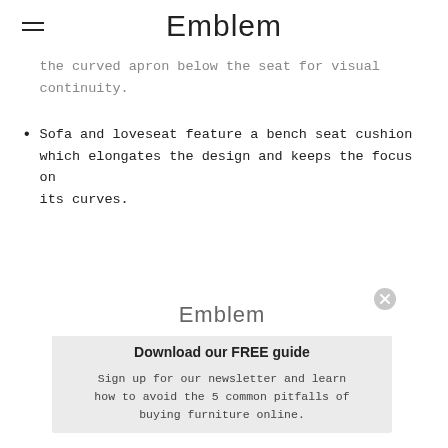Emblem
the curved apron below the seat for visual continuity.
Sofa and loveseat feature a bench seat cushion which elongates the design and keeps the focus on its curves.
[Figure (screenshot): Modal popup overlay with Emblem logo, 'Download our FREE guide' heading, and text 'Sign up for our newsletter and learn how to avoid the 5 common pitfalls of buying furniture online.' with a close button.]